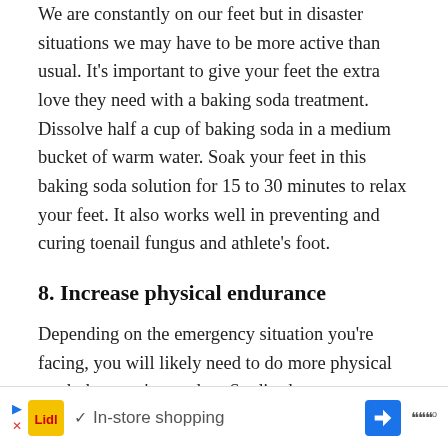We are constantly on our feet but in disaster situations we may have to be more active than usual. It's important to give your feet the extra love they need with a baking soda treatment. Dissolve half a cup of baking soda in a medium bucket of warm water. Soak your feet in this baking soda solution for 15 to 30 minutes to relax your feet. It also works well in preventing and curing toenail fungus and athlete's foot.
8. Increase physical endurance
Depending on the emergency situation you're facing, you will likely need to do more physical work than you're used to. Studies have determined that some athletes experience